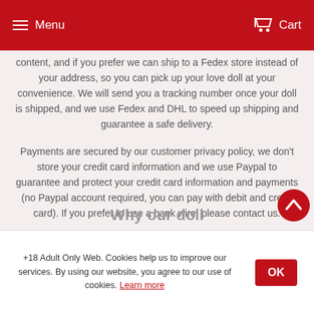Menu   Cart
content, and if you prefer we can ship to a Fedex store instead of your address, so you can pick up your love doll at your convenience. We will send you a tracking number once your doll is shipped, and we use Fedex and DHL to speed up shipping and guarantee a safe delivery.
Payments are secured by our customer privacy policy, we don't store your credit card information and we use Paypal to guarantee and protect your credit card information and payments (no Paypal account required, you can pay with debit and credit card). If you prefer to use a bank wire, please contact us.
+18 Adult Only Web. Cookies help us to improve our services. By using our website, you agree to our use of cookies. Learn more